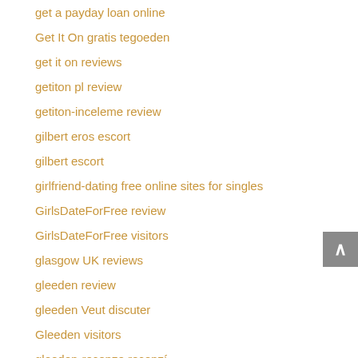get a payday loan online
Get It On gratis tegoeden
get it on reviews
getiton pl review
getiton-inceleme review
gilbert eros escort
gilbert escort
girlfriend-dating free online sites for singles
GirlsDateForFree review
GirlsDateForFree visitors
glasgow UK reviews
gleeden review
gleeden Veut discuter
Gleeden visitors
gleeden-recenze recenzí